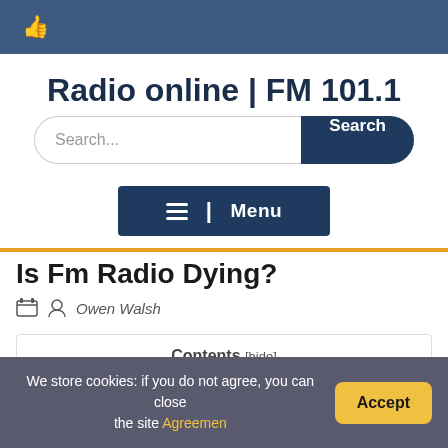Radio online | FM 101.1
Radio online | FM 101.1
Search...
≡  |  Menu
Is Fm Radio Dying?
Owen Walsh
Contents [hide]
We store cookies: if you do not agree, you can close the site Agreemen